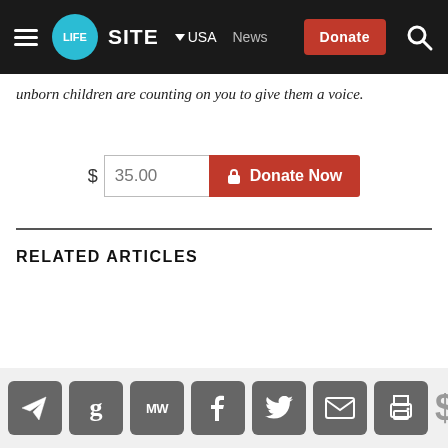LIFESITE — USA — News — Donate
unborn children are counting on you to give them a voice.
$ 35.00  🔒 Donate Now
RELATED ARTICLES
[Figure (screenshot): Bottom social share bar with icons for Telegram, Gettr, MeWe, Facebook, Twitter, Email, Print, and a dollar sign]